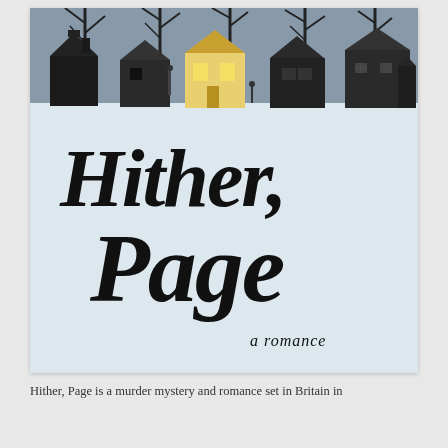[Figure (illustration): Book cover for 'Hither, Page: a romance'. Top portion shows a dark illustration of silhouetted houses and bare trees on a grey background with snow, with one house glowing yellow from within and a figure standing outside. Large bold italic script text reads 'Hither, Page' in the center on a light blue-grey background, with 'a romance' in smaller serif italic text below.]
Hither, Page is a murder mystery and romance set in Britain in